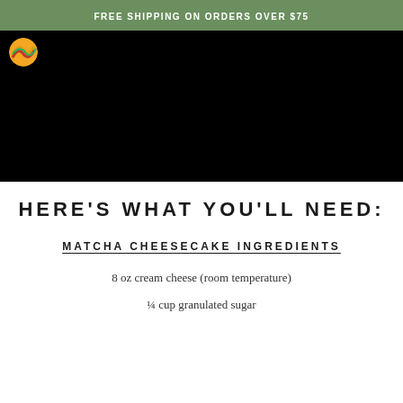FREE SHIPPING ON ORDERS OVER $75
[Figure (screenshot): Black video player area with a colorful circular logo in the top-left corner]
HERE'S WHAT YOU'LL NEED:
MATCHA CHEESECAKE INGREDIENTS
8 oz cream cheese (room temperature)
¼ cup granulated sugar